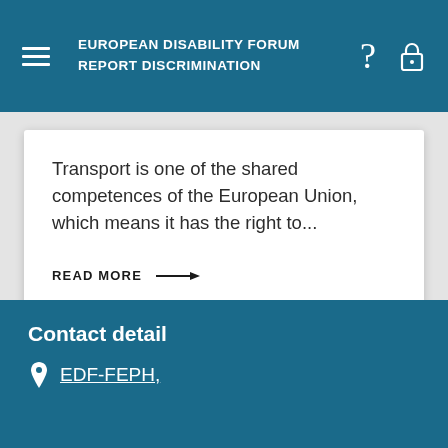EUROPEAN DISABILITY FORUM
REPORT DISCRIMINATION
Transport is one of the shared competences of the European Union, which means it has the right to...
READ MORE →
Contact detail
EDF-FEPH,